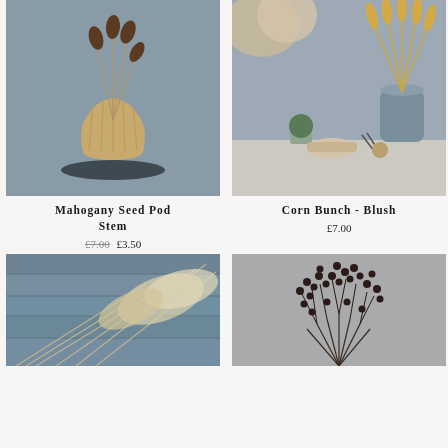[Figure (photo): Mahogany seed pod stem in a woven vase on a dark round platform against grey background]
Mahogany Seed Pod Stem
£7.00  £3.50
[Figure (photo): Corn bunch blush dried flowers in a grey ceramic vase with decorative items on a shelf against grey background]
Corn Bunch - Blush
£7.00
[Figure (photo): Dried pampas grass bunch laid on blue-grey wooden planks]
[Figure (photo): Dried dark berry bunch against grey background]